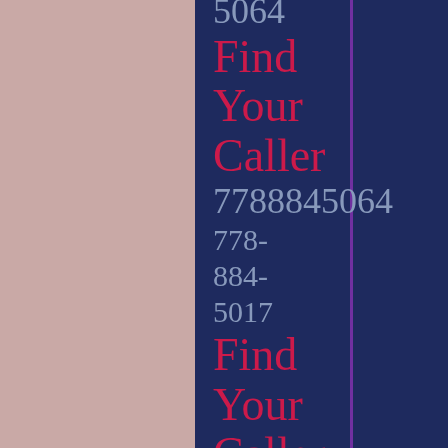5064
Find Your Caller
7788845064
778-
884-
5017
Find Your Caller
7788845017
778-
884-
5030
Find Your Caller (partial)